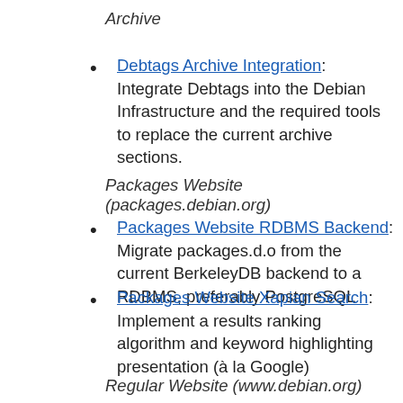Archive
Debtags Archive Integration: Integrate Debtags into the Debian Infrastructure and the required tools to replace the current archive sections.
Packages Website (packages.debian.org)
Packages Website RDBMS Backend: Migrate packages.d.o from the current BerkeleyDB backend to a RDBMS, preferably PostgreSQL
Packages Website Xapian Search: Implement a results ranking algorithm and keyword highlighting presentation (à la Google)
Regular Website (www.debian.org)
Website VCS Transition: Migrate www.d.o from the current CVS system to a more modern and better